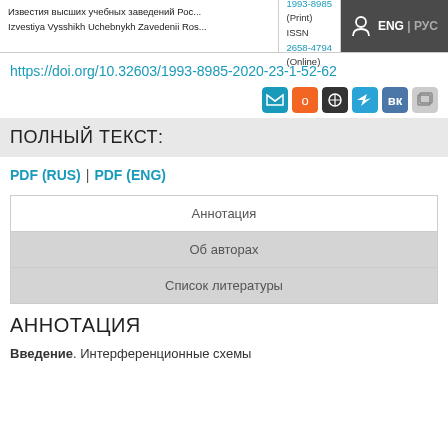Известия высших учебных заведений Рос... | ISSN 1993-8985 (Print) | ISSN 2658-4794 (Online) | ENG | РУС
https://doi.org/10.32603/1993-8985-2020-23-1-52-62
ПОЛНЫЙ ТЕКСТ:
PDF (RUS) | PDF (ENG)
Аннотация
Об авторах
Список литературы
АННОТАЦИЯ
Введение. Интерференционные схемы